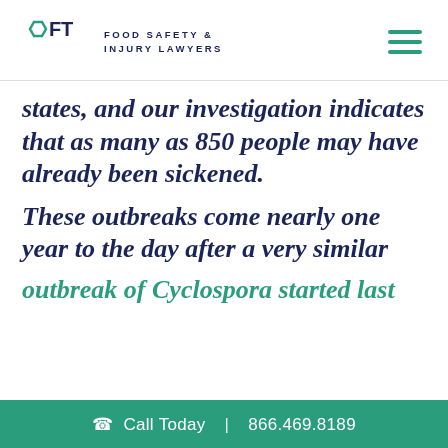OFT FOOD SAFETY & INJURY LAWYERS
states, and our investigation indicates that as many as 850 people may have already been sickened.
These outbreaks come nearly one year to the day after a very similar outbreak of Cyclospora started last
Call Today | 866.469.8189